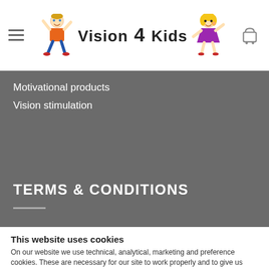Vision 4 Kids
Motivational products
Vision stimulation
TERMS & CONDITIONS
This website uses cookies
On our website we use technical, analytical, marketing and preference cookies. These are necessary for our site to work properly and to give us information about how our site is used.